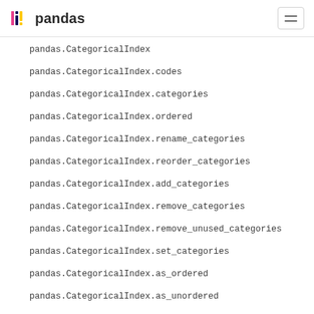pandas
pandas.CategoricalIndex
pandas.CategoricalIndex.codes
pandas.CategoricalIndex.categories
pandas.CategoricalIndex.ordered
pandas.CategoricalIndex.rename_categories
pandas.CategoricalIndex.reorder_categories
pandas.CategoricalIndex.add_categories
pandas.CategoricalIndex.remove_categories
pandas.CategoricalIndex.remove_unused_categories
pandas.CategoricalIndex.set_categories
pandas.CategoricalIndex.as_ordered
pandas.CategoricalIndex.as_unordered
pandas.CategoricalIndex.map